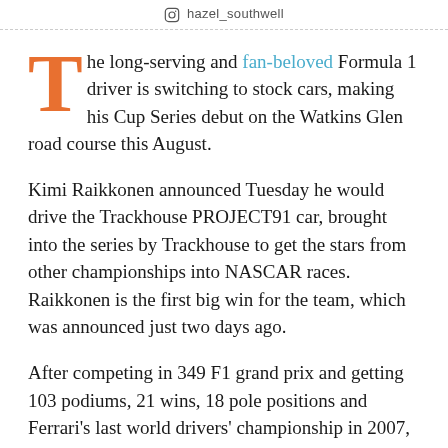hazel_southwell
The long-serving and fan-beloved Formula 1 driver is switching to stock cars, making his Cup Series debut on the Watkins Glen road course this August.
Kimi Raikkonen announced Tuesday he would drive the Trackhouse PROJECT91 car, brought into the series by Trackhouse to get the stars from other championships into NASCAR races. Raikkonen is the first big win for the team, which was announced just two days ago.
After competing in 349 F1 grand prix and getting 103 podiums, 21 wins, 18 pole positions and Ferrari's last world drivers' championship in 2007, Raikkonen